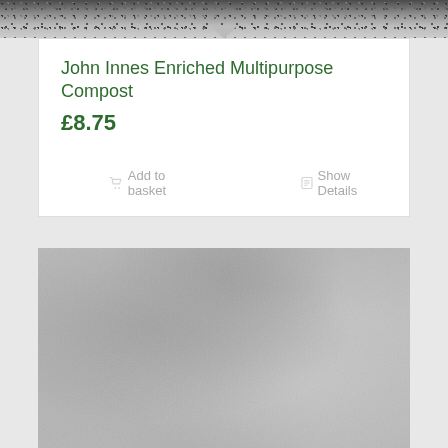[Figure (photo): Top portion of a product image showing textured dark/grey material, partially cropped at the top of the page]
John Innes Enriched Multipurpose Compost
£8.75
Add to basket
Show Details
[Figure (photo): Bottom photograph showing grey textured material, likely compost or soil surface with fibrous texture, light grey color]